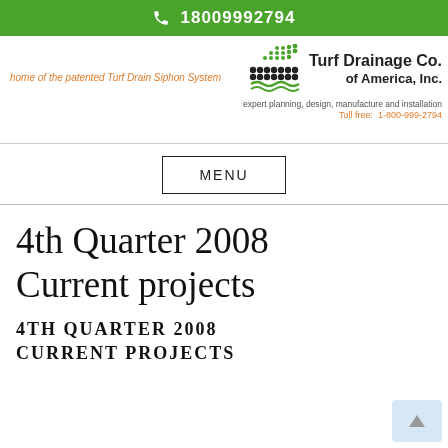18009992794
[Figure (logo): Turf Drainage Co. of America, Inc. logo with green dot pattern]
home of the patented Turf Drain Siphon System
expert planning, design, manufacture and installation
Toll free: 1-800-999-2794
MENU
4th Quarter 2008 Current projects
4TH QUARTER 2008 CURRENT PROJECTS